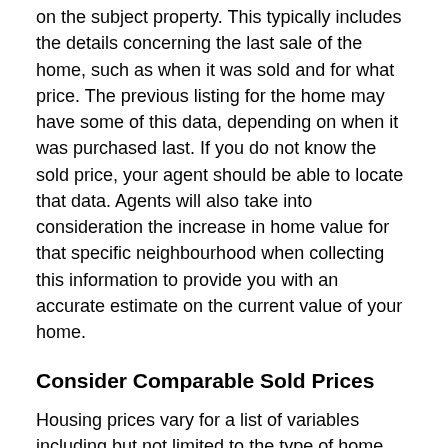on the subject property. This typically includes the details concerning the last sale of the home, such as when it was sold and for what price. The previous listing for the home may have some of this data, depending on when it was purchased last. If you do not know the sold price, your agent should be able to locate that data. Agents will also take into consideration the increase in home value for that specific neighbourhood when collecting this information to provide you with an accurate estimate on the current value of your home.
Consider Comparable Sold Prices
Housing prices vary for a list of variables including but not limited to the type of home, size, bedrooms, bathrooms, upgrades, and neighbourhood. This is what makes it essential to compare similar properties when completing a complete market analysis .  For instance, if you are selling a 3 bedroom 2 bathroom single family home, you should compare it with